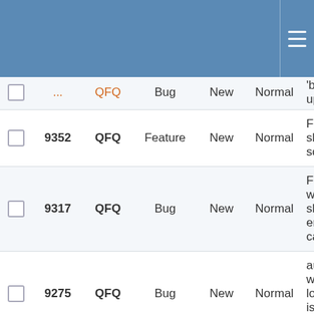|  | ID | Project | Type | Status | Priority | Subject |
| --- | --- | --- | --- | --- | --- | --- |
|  | ... | QFQ | Bug | New | Normal | 'before upload |
|  | 9352 | QFQ | Feature | New | Normal | FE 'Na slaveId sqlIns. |
|  | 9317 | QFQ | Bug | New | Normal | FE.typ with dy show/h empty causes |
|  | 9275 | QFQ | Bug | New | Normal | autcro which long to is not proper |
|  | 9208 | QFQ | Feature | New | Normal | Manag record |
|  | 9177 | QFQ | Bug | New | Normal | Bug? c to sav FE, wh real ex colum |
|  | ... | ... | ... | ... | ... | sqlVali |